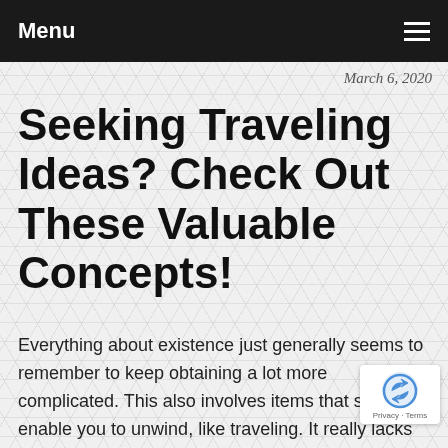Menu
March 6, 2020
Seeking Traveling Ideas? Check Out These Valuable Concepts!
Everything about existence just generally seems to remember to keep obtaining a lot more complicated. This also involves items that should enable you to unwind, like traveling. It really lacks to be that way. The next post will show a couple of concepts which will help make touring a lot easier for yourself.